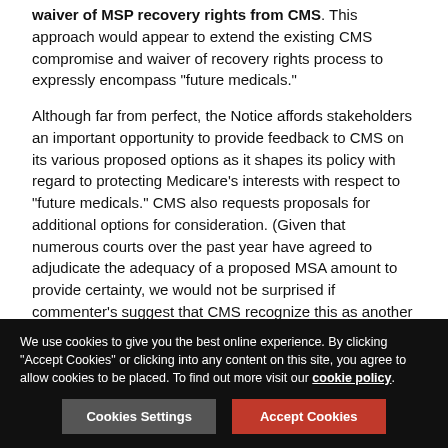waiver of MSP recovery rights from CMS. This approach would appear to extend the existing CMS compromise and waiver of recovery rights process to expressly encompass "future medicals."
Although far from perfect, the Notice affords stakeholders an important opportunity to provide feedback to CMS on its various proposed options as it shapes its policy with regard to protecting Medicare's interests with respect to "future medicals." CMS also requests proposals for additional options for consideration. (Given that numerous courts over the past year have agreed to adjudicate the adequacy of a proposed MSA amount to provide certainty, we would not be surprised if commenter's suggest that CMS recognize this as another "option," to the extent a court is willing to undertake such process).
We use cookies to give you the best online experience. By clicking "Accept Cookies" or clicking into any content on this site, you agree to allow cookies to be placed. To find out more visit our cookie policy.